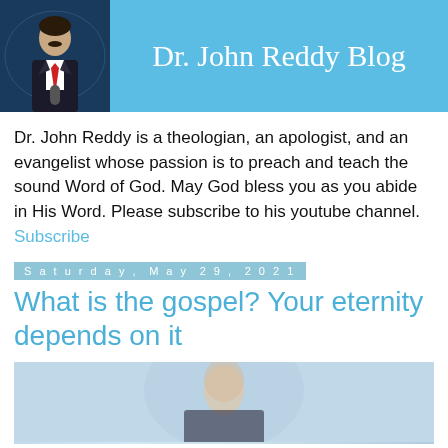Dr. John Reddy Blog
Dr. John Reddy is a theologian, an apologist, and an evangelist whose passion is to preach and teach the sound Word of God. May God bless you as you abide in His Word. Please subscribe to his youtube channel. Subscribe
Saturday, May 29, 2021
What is the gospel? Your eternity depends on it
[Figure (screenshot): Video thumbnail with blurred background showing a person speaking]
What is the gospel? Your eternity depends on it